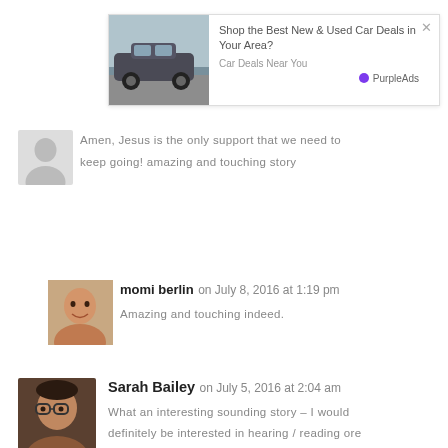[Figure (screenshot): Advertisement banner: car image on left, text 'Shop the Best New & Used Car Deals in Your Area?' with 'Car Deals Near You' source and PurpleAds branding, close button top-right.]
Amen, Jesus is the only support that we need to keep going! amazing and touching story
momi berlin on July 8, 2016 at 1:19 pm
Amazing and touching indeed.
Sarah Bailey on July 5, 2016 at 2:04 am
What an interesting sounding story – I would definitely be interested in hearing / reading ore about it. x